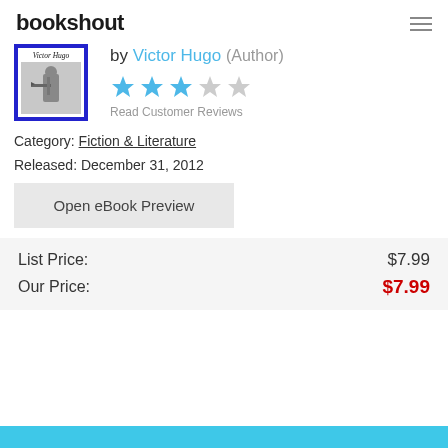bookshout
[Figure (illustration): Book cover thumbnail for a Victor Hugo book, showing a person with a crossbow, with blue border]
by Victor Hugo (Author)
[Figure (other): 3 out of 5 stars rating shown as star icons (3 filled blue, 2 grey)]
Read Customer Reviews
Category: Fiction & Literature
Released: December 31, 2012
Open eBook Preview
List Price: $7.99
Our Price: $7.99